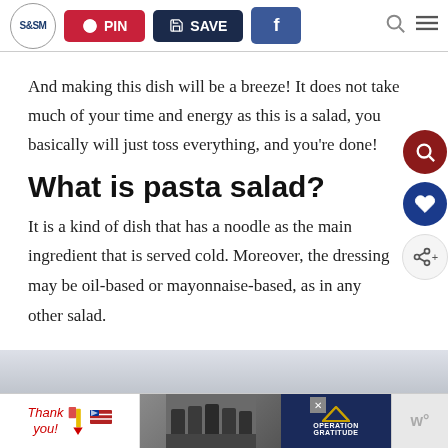S&SM | PIN | SAVE | f
And making this dish will be a breeze! It does not take much of your time and energy as this is a salad, you basically will just toss everything, and you're done!
What is pasta salad?
It is a kind of dish that has a noodle as the main ingredient that is served cold. Moreover, the dressing may be oil-based or mayonnaise-based, as in any other salad.
[Figure (screenshot): Advertisement banner at the bottom featuring 'Thank you!' text, firefighters photo, and Operation Gratitude logo]